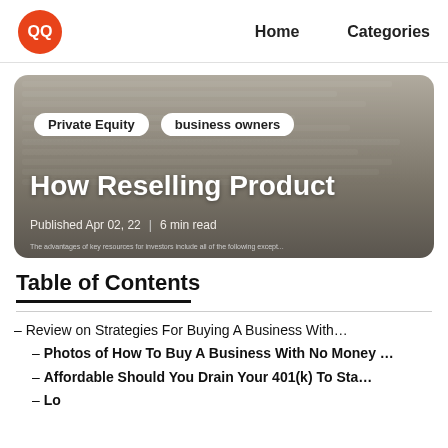QQ  Home  Categories
[Figure (screenshot): Hero card with blurred document background showing quiz/exam questions. Overlaid with two white pill tags 'Private Equity' and 'business owners', large white title 'How Reselling Product', and metadata 'Published Apr 02, 22 | 6 min read'.]
Table of Contents
– Review on Strategies For Buying A Business With…
– Photos of How To Buy A Business With No Money …
– Affordable Should You Drain Your 401(k) To Sta…
– [partial, cut off]